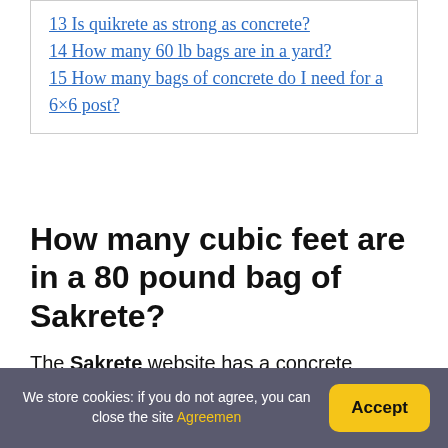13 Is quikrete as strong as concrete?
14 How many 60 lb bags are in a yard?
15 How many bags of concrete do I need for a 6×6 post?
How many cubic feet are in a 80 pound bag of Sakrete?
The Sakrete website has a concrete calculator, but to answer your question a little better in real-world terms, an 80# bag will provide 0.6 cubic feet of concrete, which is a block that's appx 7.25″ x 12′ x 12″.
We store cookies: if you do not agree, you can close the site Agreement